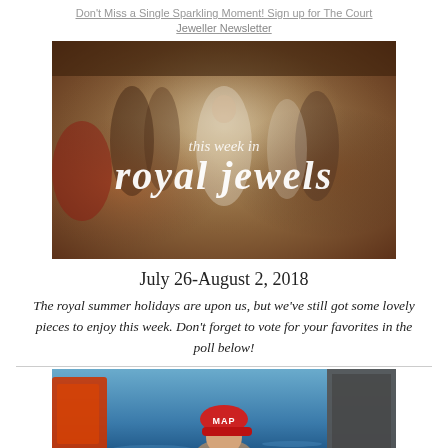Don't Miss a Single Sparkling Moment! Sign up for The Court Jeweller Newsletter
[Figure (illustration): Banner image showing a historical royal court painting with elegantly dressed figures. Overlaid italic script text reads 'this week in royal jewels']
July 26-August 2, 2018
The royal summer holidays are upon us, but we've still got some lovely pieces to enjoy this week. Don't forget to vote for your favorites in the poll below!
[Figure (photo): Photograph of a person wearing a red cap with white text, appearing to be near water with a red/orange object on the left and dark grey shape on the right]